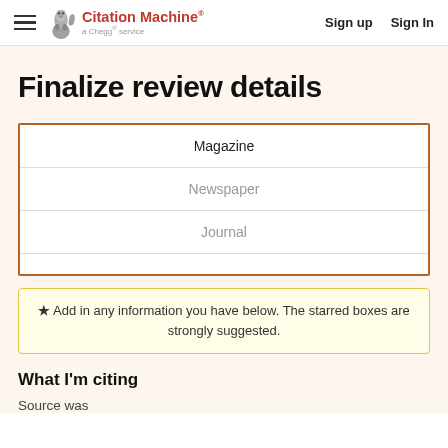Citation Machine® a Chegg® service | Sign up | Sign In
Finalize review details
| Magazine |
| Newspaper |
| Journal |
★ Add in any information you have below. The starred boxes are strongly suggested.
What I'm citing
Source was